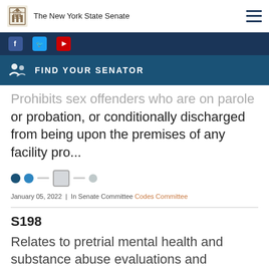The New York State Senate
FIND YOUR SENATOR
Prohibits sex offenders who are on parole or probation, or conditionally discharged from being upon the premises of any facility pro...
January 05, 2022 | In Senate Committee Codes Committee
S198
Relates to pretrial mental health and substance abuse evaluations and